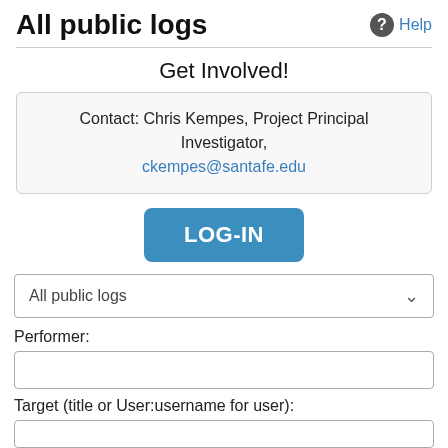All public logs
Help
Get Involved!
Contact: Chris Kempes, Project Principal Investigator, ckempes@santafe.edu
[Figure (screenshot): LOG-IN button, blue rounded rectangle with white bold text]
All public logs
Performer:
Target (title or User:username for user):